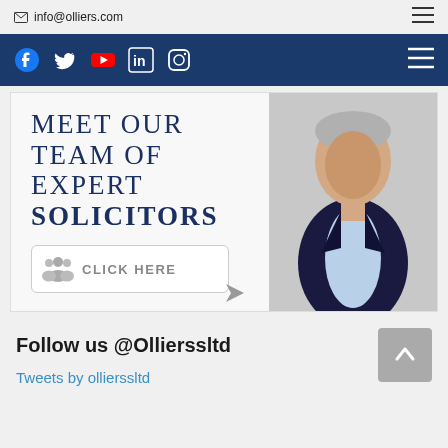✉ info@olliers.com
[Figure (screenshot): Navigation bar with social media icons: Facebook, Twitter, YouTube, LinkedIn, Instagram on dark blue background with hamburger menu]
[Figure (photo): Promotional banner: 'Meet our team of expert solicitors' with a 'Click Here' button and photo of a man in a dark suit]
Follow us @Ollierssltd
Tweets by ollierssltd